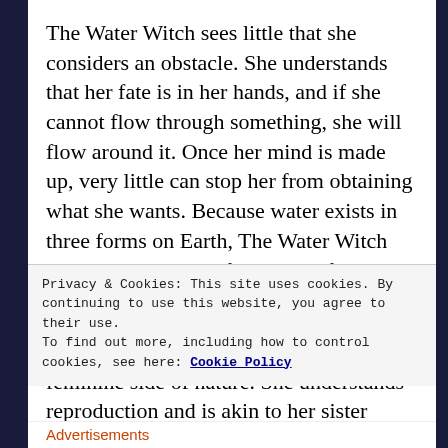The Water Witch sees little that she considers an obstacle. She understands that her fate is in her hands, and if she cannot flow through something, she will flow around it. Once her mind is made up, very little can stop her from obtaining what she wants. Because water exists in three forms on Earth, The Water Witch can be considered a formidable force. She will not admit to any weaknesses.
The Water Witch has a close link to the feminine side of nature. She understands reproduction and is akin to her sister Earth Witch in this manner as well. Menstruation
Privacy & Cookies: This site uses cookies. By continuing to use this website, you agree to their use.
To find out more, including how to control cookies, see here: Cookie Policy
Close and accept
Advertisements